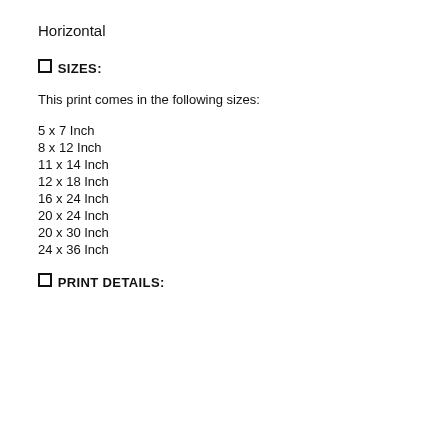Horizontal
🔲 SIZES:
This print comes in the following sizes:
5 x 7 Inch
8 x 12 Inch
11 x 14 Inch
12 x 18 Inch
16 x 24 Inch
20 x 24 Inch
20 x 30 Inch
24 x 36 Inch
🔲 PRINT DETAILS: